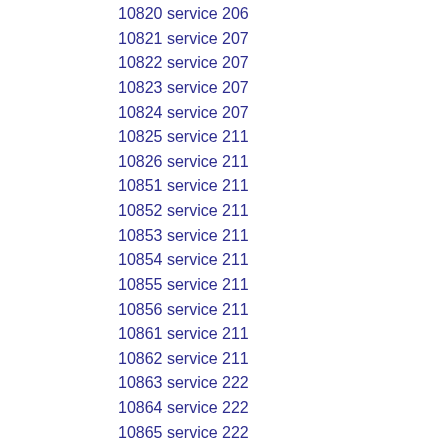10820 service 206
10821 service 207
10822 service 207
10823 service 207
10824 service 207
10825 service 211
10826 service 211
10851 service 211
10852 service 211
10853 service 211
10854 service 211
10855 service 211
10856 service 211
10861 service 211
10862 service 211
10863 service 222
10864 service 222
10865 service 222
10866 service 222
10867 service 222
10868 service 222
10869 service 222
10870 service 222
10871 service 222
10872 service 222
10873 service 230
10874 service 230
10875 service 230
10876 service 230